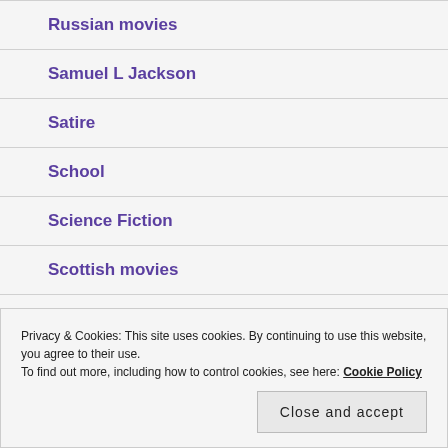Russian movies
Samuel L Jackson
Satire
School
Science Fiction
Scottish movies
Privacy & Cookies: This site uses cookies. By continuing to use this website, you agree to their use.
To find out more, including how to control cookies, see here: Cookie Policy
Close and accept